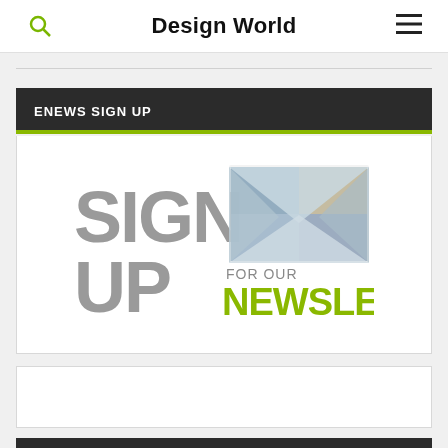Design World
ENEWS SIGN UP
[Figure (illustration): Sign up for our newsletter promotional graphic with large grey text SIGN UP, green text NEWSLETTER, small grey text FOR OUR, and an envelope icon with collage of engineering/technology images]